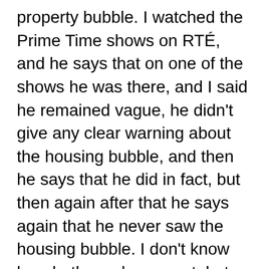property bubble. I watched the Prime Time shows on RTÉ, and he says that on one of the shows he was there, and I said he remained vague, he didn't give any clear warning about the housing bubble, and then he says that he did in fact, but then again after that he says again that he never saw the housing bubble. I don't know how both can be correct, but that's his thing, so I said Dan, I don't have like, statistical tests and all, I just watched the TV, that's what I did. I don't really understand exactly what it is that he wants, I could always watch the shows with him. But another problem is that the shows are gone. When I did my study, they were online, and now they've been taken down by RTÉ. I don't know if it had any thing to do with my study but they were